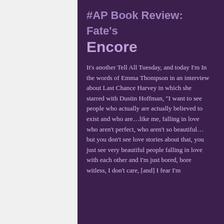#AP Book Review: Fate's Encore
It's another Tell All Tuesday, and today I'm In the words of Emma Thompson in an interview about Last Chance Harvey in which she starred with Dustin Hoffman, “I want to see people who actually are actually believed to exist and who are…like me, falling in love who aren’t perfect, who aren’t so beautiful…but you don’t see love stories about that, you just see very beautiful people falling in love with each other and I’m just bored, bore witless, I don’t care, [and] I fear I’m
[Figure (screenshot): Social media post footer with eye icon showing 2 views, comment icon showing 0 comments, and a heart icon for likes]
[Figure (photo): Book cover image showing the word RESIST in large bold white letters on a dark grey background]